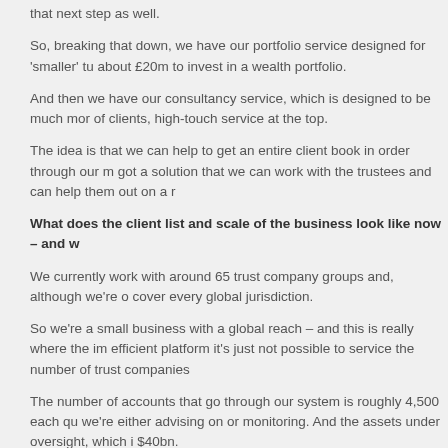that next step as well.
So, breaking that down, we have our portfolio service designed for 'smaller' tr... about £20m to invest in a wealth portfolio.
And then we have our consultancy service, which is designed to be much mo... of clients, high-touch service at the top.
The idea is that we can help to get an entire client book in order through our m... got a solution that we can work with the trustees and can help them out on a r...
What does the client list and scale of the business look like now – and w...
We currently work with around 65 trust company groups and, although we're o... cover every global jurisdiction.
So we're a small business with a global reach – and this is really where the im... efficient platform it's just not possible to service the number of trust companies...
The number of accounts that go through our system is roughly 4,500 each qu... we're either advising on or monitoring. And the assets under oversight, which i... $40bn.
About 60% of our group's revenue comes through the monitoring service for th...
We have a significant amount of data volume to deal with, in lots of different pl... – was such an incredibly important strategic decision for the business.